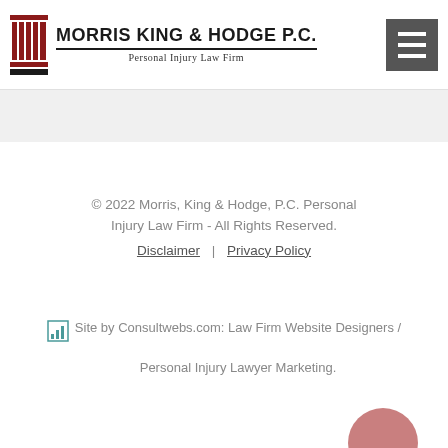[Figure (logo): Morris King & Hodge P.C. Personal Injury Law Firm logo with red column icon and firm name]
[Figure (other): Hamburger menu button in dark gray]
© 2022 Morris, King & Hodge, P.C. Personal Injury Law Firm - All Rights Reserved. Disclaimer | Privacy Policy
Site by Consultwebs.com: Law Firm Website Designers / Personal Injury Lawyer Marketing.